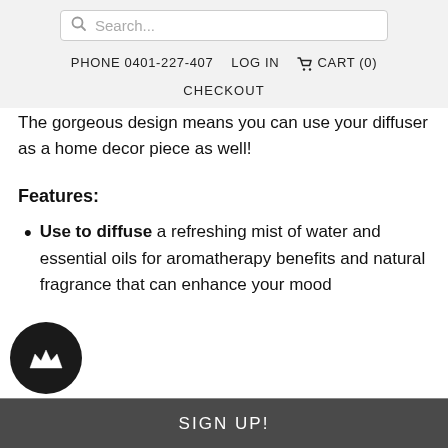Search... | PHONE 0401-227-407 | LOG IN | CART (0) | CHECKOUT
The gorgeous design means you can use your diffuser as a home decor piece as well!
Features:
Use to diffuse a refreshing mist of water and essential oils for aromatherapy benefits and natural fragrance that can enhance your mood